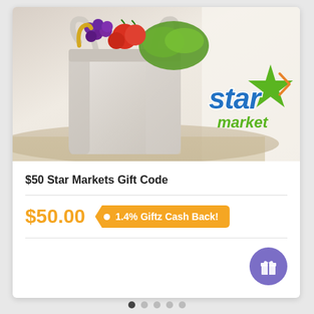[Figure (photo): A white reusable grocery tote bag filled with fresh vegetables and fruits (grapes, tomatoes, lettuce) on a light background, with the Star Market logo overlaid in the lower right of the image.]
$50 Star Markets Gift Code
$50.00
1.4% Giftz Cash Back!